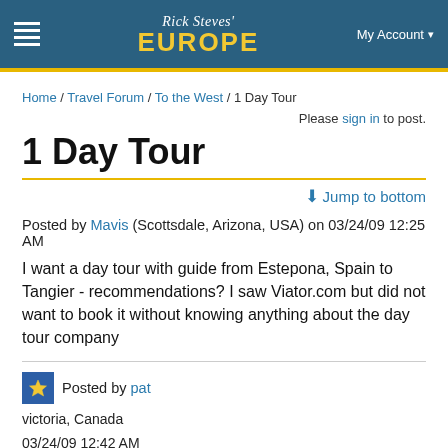Rick Steves' EUROPE — My Account
Home / Travel Forum / To the West / 1 Day Tour
Please sign in to post.
1 Day Tour
Jump to bottom
Posted by Mavis (Scottsdale, Arizona, USA) on 03/24/09 12:25 AM
I want a day tour with guide from Estepona, Spain to Tangier - recommendations? I saw Viator.com but did not want to book it without knowing anything about the day tour company
Posted by pat
victoria, Canada
03/24/09 12:42 AM
11450 posts